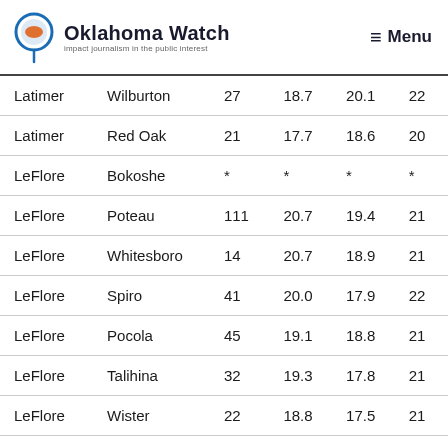Oklahoma Watch — Impact journalism in the public interest | Menu
| County | District | Col3 | Col4 | Col5 | Col6 |
| --- | --- | --- | --- | --- | --- |
| Latimer | Wilburton | 27 | 18.7 | 20.1 | 22 |
| Latimer | Red Oak | 21 | 17.7 | 18.6 | 20 |
| LeFlore | Bokoshe | * | * | * | * |
| LeFlore | Poteau | 111 | 20.7 | 19.4 | 21 |
| LeFlore | Whitesboro | 14 | 20.7 | 18.9 | 21 |
| LeFlore | Spiro | 41 | 20.0 | 17.9 | 22 |
| LeFlore | Pocola | 45 | 19.1 | 18.8 | 21 |
| LeFlore | Talihina | 32 | 19.3 | 17.8 | 21 |
| LeFlore | Wister | 22 | 18.8 | 17.5 | 21 |
| LeFlore | Howe | 32 | 19.1 | 17.9 | 20 |